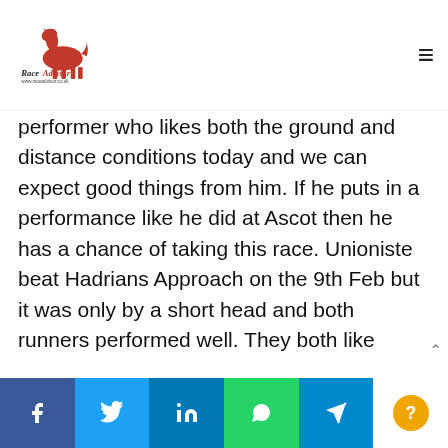Race Advisor - www.raceadvisor.co.uk
performer who likes both the ground and distance conditions today and we can expect good things from him. If he puts in a performance like he did at Ascot then he has a chance of taking this race. Unioniste beat Hadrians Approach on the 9th Feb but it was only by a short head and both runners performed well. They both like todays conditions and are likely to be competitive. Vintage Star has been racing in significantly lower class races and today may prove to be
Facebook Twitter LinkedIn WhatsApp Telegram Info